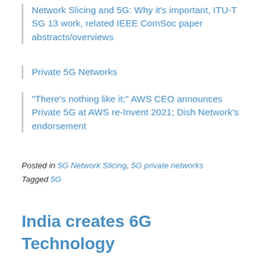Network Slicing and 5G: Why it's important, ITU-T SG 13 work, related IEEE ComSoc paper abstracts/overviews
Private 5G Networks
“There's nothing like it;” AWS CEO announces Private 5G at AWS re-Invent 2021; Dish Network’s endorsement
Posted in 5G Network Slicing, 5G private networks
Tagged 5G
India creates 6G Technology Innovation Group with autonomous driving